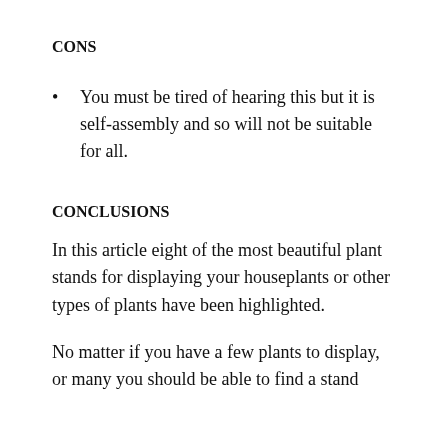CONS
You must be tired of hearing this but it is self-assembly and so will not be suitable for all.
CONCLUSIONS
In this article eight of the most beautiful plant stands for displaying your houseplants or other types of plants have been highlighted.
No matter if you have a few plants to display, or many you should be able to find a stand